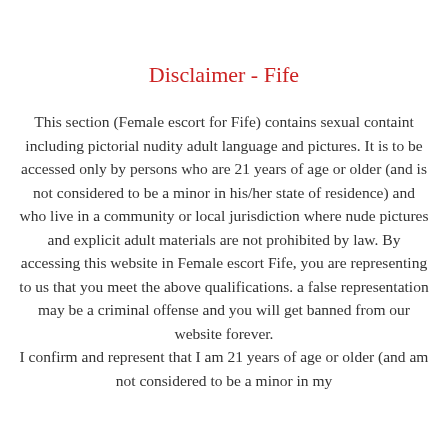Disclaimer - Fife
This section (Female escort for Fife) contains sexual containt including pictorial nudity adult language and pictures. It is to be accessed only by persons who are 21 years of age or older (and is not considered to be a minor in his/her state of residence) and who live in a community or local jurisdiction where nude pictures and explicit adult materials are not prohibited by law. By accessing this website in Female escort Fife, you are representing to us that you meet the above qualifications. a false representation may be a criminal offense and you will get banned from our website forever.
I confirm and represent that I am 21 years of age or older (and am not considered to be a minor in my